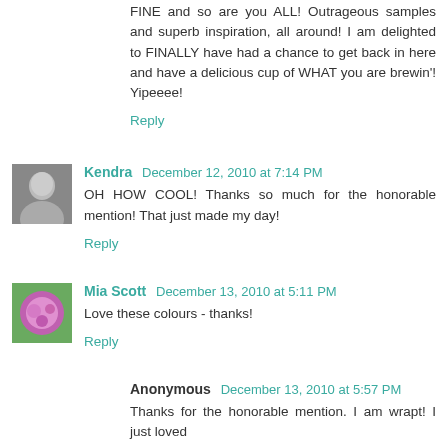FINE and so are you ALL! Outrageous samples and superb inspiration, all around! I am delighted to FINALLY have had a chance to get back in here and have a delicious cup of WHAT you are brewin'! Yipeeee!
Reply
Kendra December 12, 2010 at 7:14 PM
OH HOW COOL! Thanks so much for the honorable mention! That just made my day!
Reply
Mia Scott December 13, 2010 at 5:11 PM
Love these colours - thanks!
Reply
Anonymous December 13, 2010 at 5:57 PM
Thanks for the honorable mention. I am wrapt! I just loved